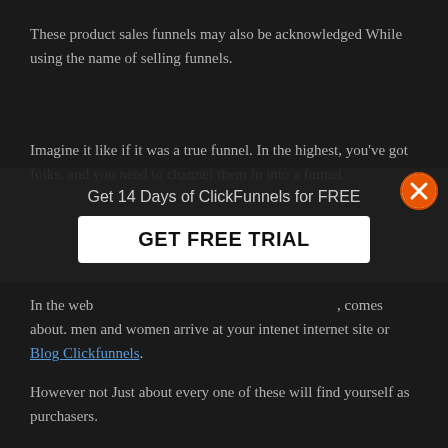These product sales funnels may also be acknowledged While using the name of selling funnels.
Imagine it like if it was a true funnel. In the highest, you've got folks, and you need to channel them in into a funnel.
[Figure (infographic): Dark overlay popup with 'Get 14 Days of ClickFunnels for FREE' headline and a white 'GET FREE TRIAL' button, plus an orange X close button in the top right corner]
In the web [obscured by overlay], comes about. men and women arrive at your intenet internet site or Blog Clickfunnels.
However not Just about every one of these will find yourself as purchasers.